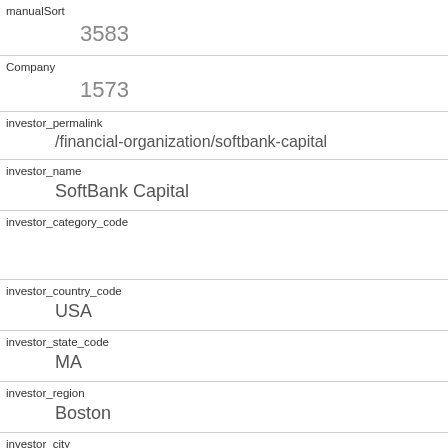| manualSort | 3583 |
| Company | 1573 |
| investor_permalink | /financial-organization/softbank-capital |
| investor_name | SoftBank Capital |
| investor_category_code |  |
| investor_country_code | USA |
| investor_state_code | MA |
| investor_region | Boston |
| investor_city | Newton |
| funding_round_type | series-b |
| funded_at |  |